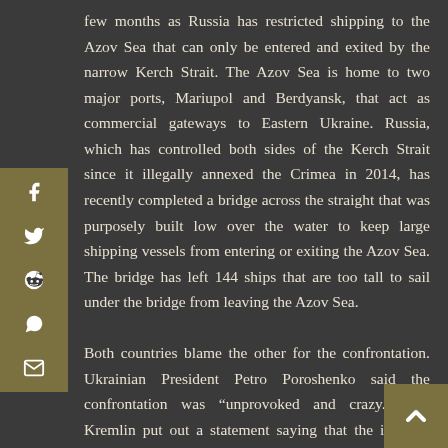few months as Russia has restricted shipping to the Azov Sea that can only be entered and exited by the narrow Kerch Strait. The Azov Sea is home to two major ports, Mariupol and Berdyansk, that act as commercial gateways to Eastern Ukraine. Russia, which has controlled both sides of the Kerch Strait since it illegally annexed the Crimea in 2014, has recently completed a bridge across the straight that was purposely built low over the water to keep large shipping vessels from entering or exiting the Azov Sea. The bridge has left 144 ships that are too tall to sail under the bridge from leaving the Azov Sea.
Both countries blame the other for the confrontation. Ukrainian President Petro Poroshenko said the confrontation was "unprovoked and crazy." The Kremlin put out a statement saying that the incident was a "provocation" by Poroshenko to create a crisis to delay presidential elections early next year. While Russia was clearly in violation of its treaties and international law, their statement does have an element of truth to it in as far as Poroshenko seems to be using the incident to rally popular support with the presidential election and his poor polling numbers in mind. He used the incident